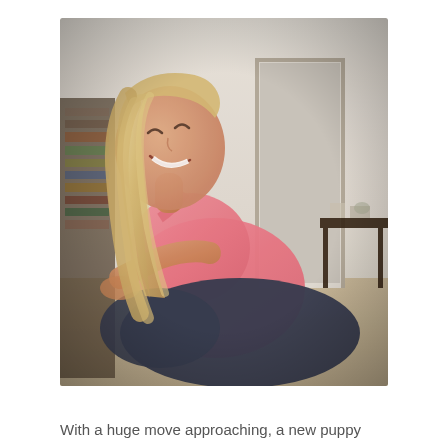[Figure (photo): A smiling blonde woman in a pink tank top and dark blue yoga pants lying on the floor in what appears to be a yoga cobra-like pose, laughing and looking upward. A bookshelf is visible on the left side, and a dark wooden console table and a doorway are visible in the background on the right.]
With a huge move approaching, a new puppy